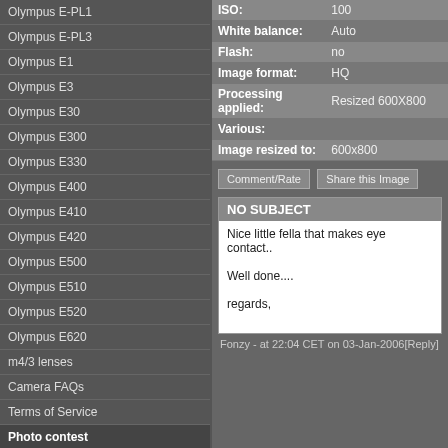Olympus E-PL1
Olympus E-PL3
Olympus E1
Olympus E3
Olympus E30
Olympus E300
Olympus E330
Olympus E400
Olympus E410
Olympus E420
Olympus E500
Olympus E510
Olympus E520
Olympus E620
m4/3 lenses
Camera FAQs
Terms of Service
Photo contest
Submissions page
Hall of fame
Folders
About this site
Documents
Polls
Private folders
Public folders
Categories
| Field | Value |
| --- | --- |
| ISO: | 100 |
| White balance: | Auto |
| Flash: | no |
| Image format: | HQ |
| Processing applied: | Resized 600X800 |
| Various: |  |
| Image resized to: | 600x800 |
NO SUBJECT
Nice little fella that makes eye contact..

Well done....

regards,
Fonzy - at 22:04 CET on 03-Jan-2006 [Reply]